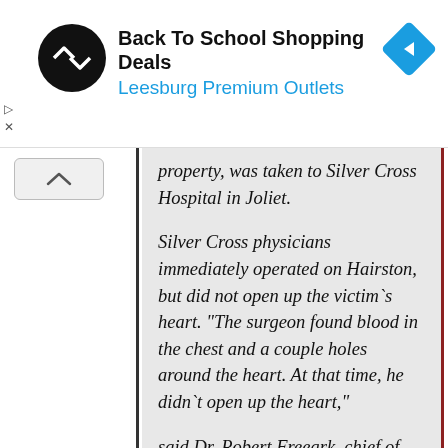[Figure (screenshot): Advertisement banner for Back To School Shopping Deals at Leesburg Premium Outlets, with a circular logo and a navigation arrow icon]
property, was taken to Silver Cross Hospital in Joliet.

Silver Cross physicians immediately operated on Hairston, but did not open up the victim`s heart. "The surgeon found blood in the chest and a couple holes around the heart. At that time, he didn`t open up the heart,"

said Dr. Robert Freeark, chief of surgery at Loyola.